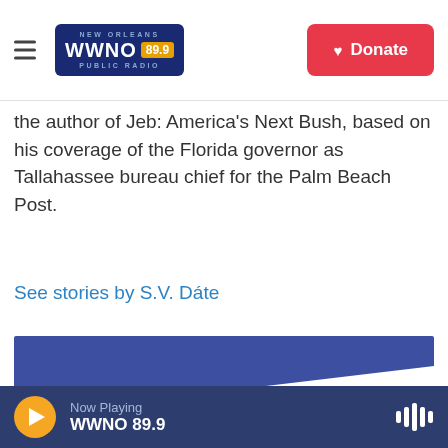WWNO 89.9 New Orleans Public Radio — Donate
the author of Jeb: America's Next Bush, based on his coverage of the Florida governor as Tallahassee bureau chief for the Palm Beach Post.
See stories by S.V. Dáte
[Figure (other): Promotional banner image with blue background and diagonal white section, showing text 'Help build a permanent funding source for']
Now Playing WWNO 89.9